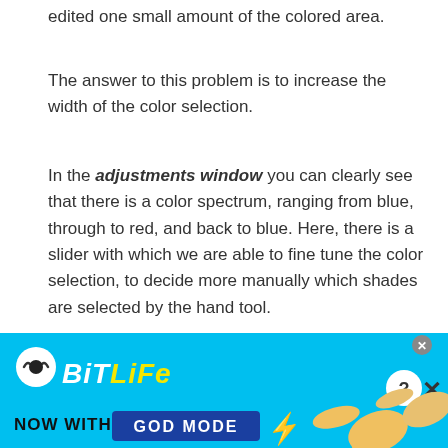edited one small amount of the colored area.
The answer to this problem is to increase the width of the color selection.
In the adjustments window you can clearly see that there is a color spectrum, ranging from blue, through to red, and back to blue. Here, there is a slider with which we are able to fine tune the color selection, to decide more manually which shades are selected by the hand tool.
The grey brackets on this slider indicate what range of colors you have selected. So, by dragging these outwards, you can increase the
[Figure (screenshot): BitLife advertisement banner with cyan background, BitLife logo, and 'NOW WITH GOD MODE' text with a pointing hand graphic]